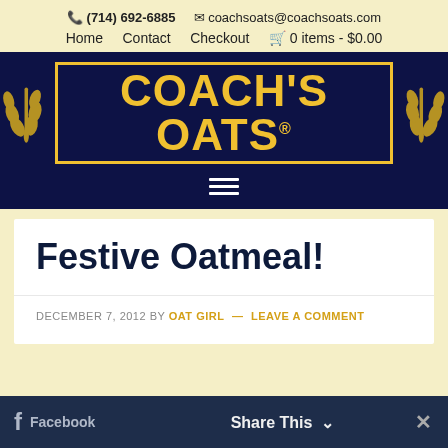(714) 692-6885   coachsoats@coachsoats.com
Home   Contact   Checkout   0 items - $0.00
[Figure (logo): Coach's Oats logo on dark navy background with wheat stalks on either side. Text reads COACH'S OATS in large gold block letters with gold border. Registered trademark symbol. Hamburger menu icon below.]
Festive Oatmeal!
DECEMBER 7, 2012 BY OAT GIRL — LEAVE A COMMENT
Facebook   Share This   ✕